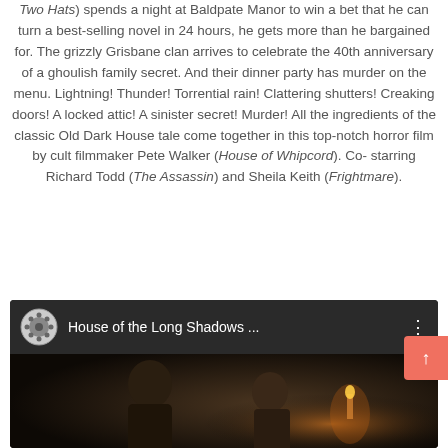Two Hats) spends a night at Baldpate Manor to win a bet that he can turn a best-selling novel in 24 hours, he gets more than he bargained for. The grizzly Grisbane clan arrives to celebrate the 40th anniversary of a ghoulish family secret. And their dinner party has murder on the menu. Lightning! Thunder! Torrential rain! Clattering shutters! Creaking doors! A locked attic! A sinister secret! Murder! All the ingredients of the classic Old Dark House tale come together in this top-notch horror film by cult filmmaker Pete Walker (House of Whipcord). Co-starring Richard Todd (The Assassin) and Sheila Keith (Frightmare).
[Figure (screenshot): YouTube-style video embed showing 'House of the Long Shadows...' with a film reel icon and thumbnail showing two men in dark lighting]